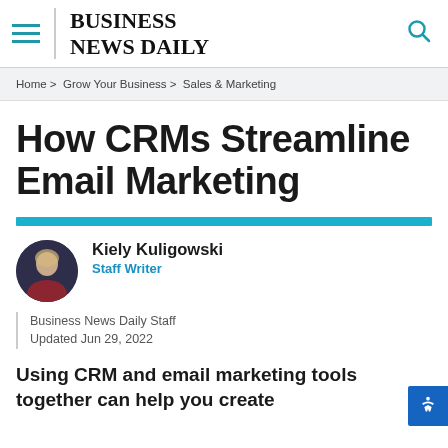BUSINESS NEWS DAILY
Home > Grow Your Business > Sales & Marketing
How CRMs Streamline Email Marketing
Kiely Kuligowski
Staff Writer
Business News Daily Staff
Updated Jun 29, 2022
Using CRM and email marketing tools together can help you create